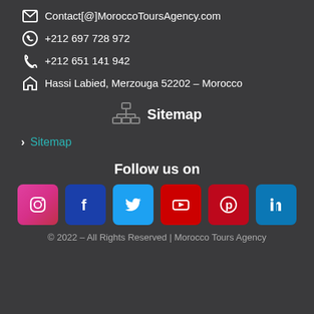✉ Contact[@]MoroccoToursAgency.com
📱 +212 697 728 972
📞 +212 651 141 942
🏠 Hassi Labied, Merzouga 52202 – Morocco
Sitemap
Sitemap
Follow us on
[Figure (other): Social media icons: Instagram, Facebook, Twitter, YouTube, Pinterest, LinkedIn]
© 2022 – All Rights Reserved | Morocco Tours Agency